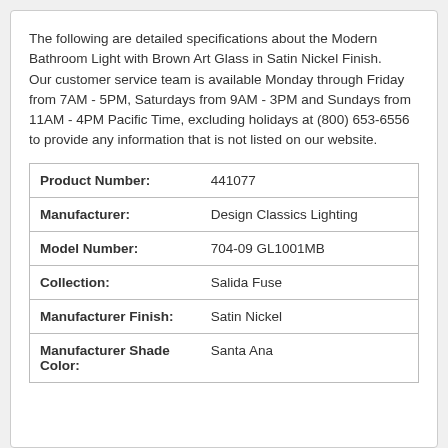The following are detailed specifications about the Modern Bathroom Light with Brown Art Glass in Satin Nickel Finish.
Our customer service team is available Monday through Friday from 7AM - 5PM, Saturdays from 9AM - 3PM and Sundays from 11AM - 4PM Pacific Time, excluding holidays at (800) 653-6556 to provide any information that is not listed on our website.
| Product Number: | 441077 |
| Manufacturer: | Design Classics Lighting |
| Model Number: | 704-09 GL1001MB |
| Collection: | Salida Fuse |
| Manufacturer Finish: | Satin Nickel |
| Manufacturer Shade Color: | Santa Ana |